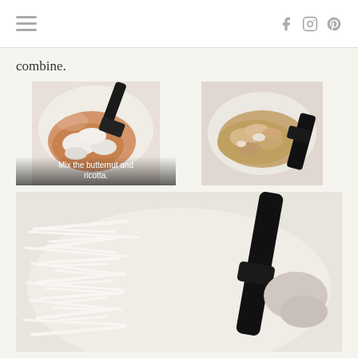Navigation header with hamburger menu and social icons (Facebook, Instagram, Pinterest)
combine.
[Figure (photo): Close-up photo of butternut squash and ricotta being mixed in a bowl with a black spatula. Overlay text reads 'Mix the butternut and ricotta.']
[Figure (photo): Close-up photo of butternut and ricotta mixture in a bowl, further along in the mixing process, with a black spatula visible.]
[Figure (photo): Close-up photo showing shredded white cheese being folded into the mixture with a black spatula in a bowl, partially visible (cropped at bottom).]